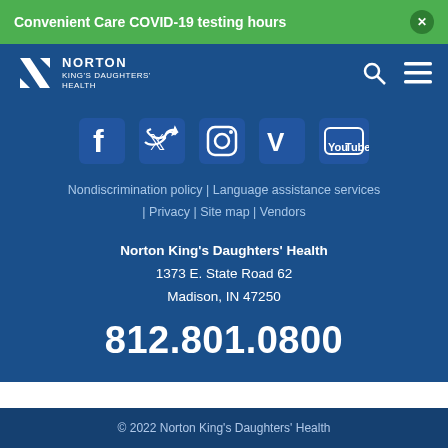Convenient Care COVID-19 testing hours
[Figure (logo): Norton King's Daughters' Health logo with N chevron icon and text]
[Figure (infographic): Social media icons row: Facebook, Twitter, Instagram, Vimeo, YouTube]
Nondiscrimination policy | Language assistance services | Privacy | Site map | Vendors
Norton King's Daughters' Health
1373 E. State Road 62
Madison, IN 47250
812.801.0800
© 2022 Norton King's Daughters' Health